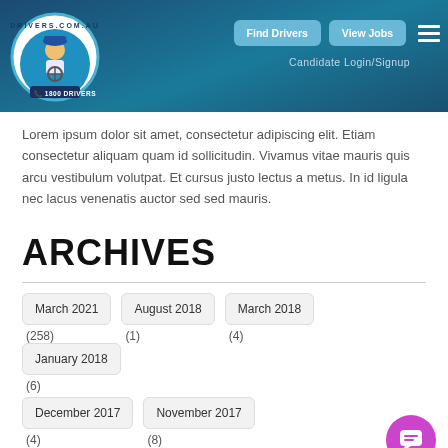[Figure (logo): Drivers.com.au logo with driver illustration and '1800 DRIVERS' text]
Find Drivers | View Jobs | Candidate Login/Signup
Lorem ipsum dolor sit amet, consectetur adipiscing elit. Etiam consectetur aliquam quam id sollicitudin. Vivamus vitae mauris quis arcu vestibulum volutpat. Et cursus justo lectus a metus. In id ligula nec lacus venenatis auctor sed sed mauris.
ARCHIVES
March 2021 (258)
August 2018 (1)
March 2018 (4)
January 2018 (6)
December 2017 (4)
November 2017 (8)